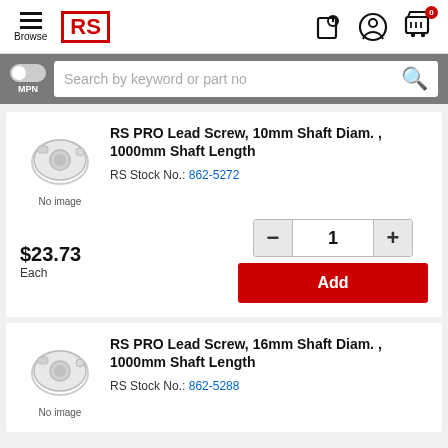[Figure (logo): RS Components logo - red bordered box with RS letters in red]
Browse
Search by keyword or part no
MPN
RS PRO Lead Screw, 10mm Shaft Diam. , 1000mm Shaft Length
RS Stock No.: 862-5272
$23.73
Each
Add
RS PRO Lead Screw, 16mm Shaft Diam. , 1000mm Shaft Length
RS Stock No.: 862-5288